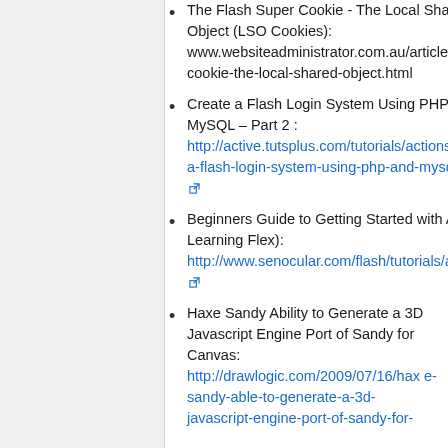The Flash Super Cookie - The Local Shared Object (LSO Cookies): www.websiteadministrator.com.au/article/super-cookie-the-local-shared-object.html
Create a Flash Login System Using PHP and MySQL – Part 2 : http://active.tutsplus.com/tutorials/actionscript/create-a-flash-login-system-using-php-and-mysql-–-part-2/
Beginners Guide to Getting Started with AS3 (Without Learning Flex): http://www.senocular.com/flash/tutorials/as3withmxmlc/
Haxe Sandy Ability to Generate a 3D Javascript Engine Port of Sandy for Canvas: http://drawlogic.com/2009/07/16/haxe-sandy-able-to-generate-a-3d-javascript-engine-port-of-sandy-for-canvas/